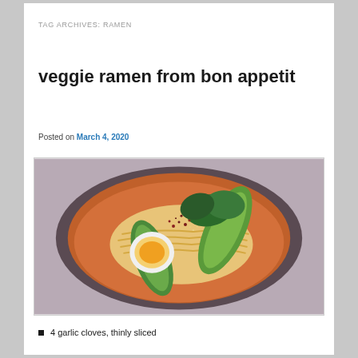TAG ARCHIVES: RAMEN
veggie ramen from bon appetit
Posted on March 4, 2020
[Figure (photo): Overhead photo of a bowl of veggie ramen with noodles, a soft-boiled egg, bok choy, spinach, and chili flakes in a reddish-orange broth, served in a dark ceramic bowl on a gray surface.]
4 garlic cloves, thinly sliced